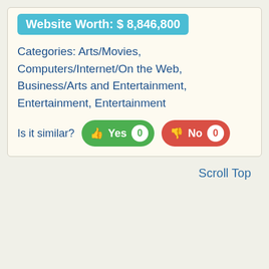Website Worth: $ 8,846,800
Categories: Arts/Movies, Computers/Internet/On the Web, Business/Arts and Entertainment, Entertainment, Entertainment
Is it similar?
Scroll Top